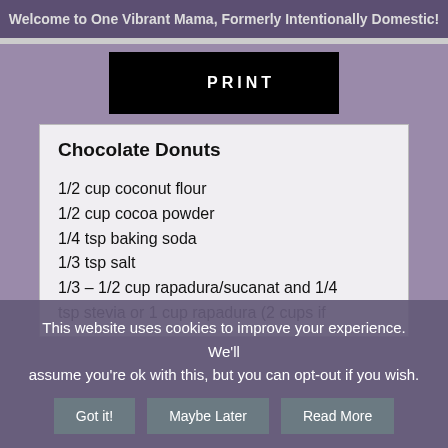Welcome to One Vibrant Mama, Formerly Intentionally Domestic!
[Figure (other): Black PRINT button with printer icon]
Chocolate Donuts
1/2 cup coconut flour
1/2 cup cocoa powder
1/4 tsp baking soda
1/3 tsp salt
1/3 – 1/2 cup rapadura/sucanat and 1/4 tsp stevia or 1 cup rapadura (2 cups if
This website uses cookies to improve your experience. We'll assume you're ok with this, but you can opt-out if you wish.